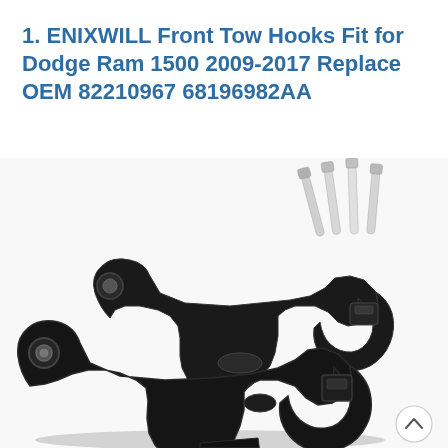1. ENIXWILL Front Tow Hooks Fit for Dodge Ram 1500 2009-2017 Replace OEM 82210967 68196982AA
[Figure (photo): Two black front tow hooks for Dodge Ram 1500, shown with four silver mounting bolts/screws in the upper right corner. The hooks are heavy-duty cast metal with a J-hook end and mounting brackets with circular holes. A small scroll-to-top arrow button is visible in the lower right corner.]